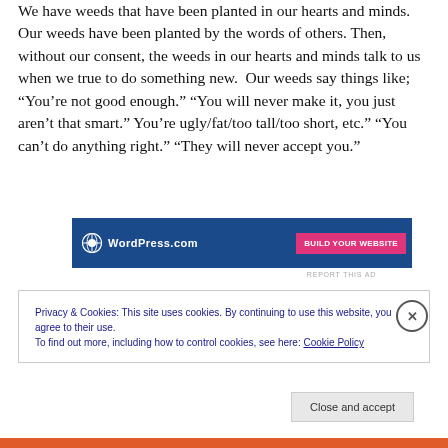We have weeds that have been planted in our hearts and minds. Our weeds have been planted by the words of others. Then, without our consent, the weeds in our hearts and minds talk to us when we true to do something new.  Our weeds say things like; “You’re not good enough.” “You will never make it, you just aren’t that smart.” You’re ugly/fat/too tall/too short, etc.” “You can’t do anything right.” “They will never accept you.”
[Figure (screenshot): WordPress.com advertisement banner with logo and pink call-to-action button]
REPORT THIS AD
Privacy & Cookies: This site uses cookies. By continuing to use this website, you agree to their use. To find out more, including how to control cookies, see here: Cookie Policy
Close and accept